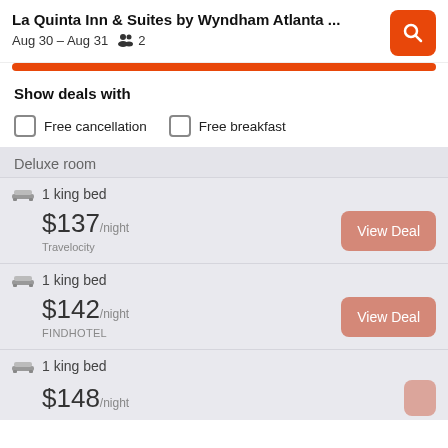La Quinta Inn & Suites by Wyndham Atlanta ... Aug 30 – Aug 31  2
Show deals with
Free cancellation
Free breakfast
Deluxe room
1 king bed
$137/night Travelocity
View Deal
1 king bed
$142/night FINDHOTEL
View Deal
1 king bed
$148/night